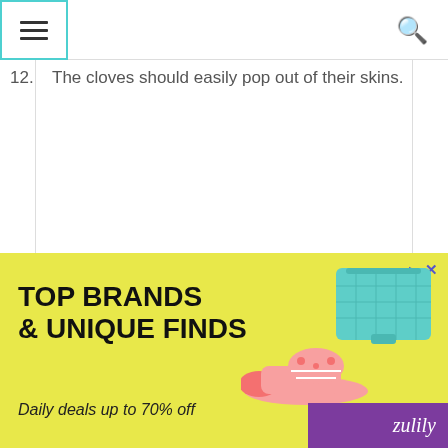Navigation bar with hamburger menu and search icon
12. The cloves should easily pop out of their skins.
[Figure (illustration): Advertisement banner for Zulily: yellow background with text 'TOP BRANDS & UNIQUE FINDS', 'Daily deals up to 70% off', product images of a pink shoe and teal purse, purple corner with 'zulily' brand name, and ad control icons (play and close).]